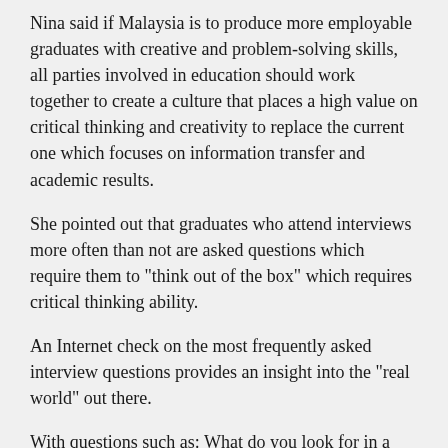Nina said if Malaysia is to produce more employable graduates with creative and problem-solving skills, all parties involved in education should work together to create a culture that places a high value on critical thinking and creativity to replace the current one which focuses on information transfer and academic results.
She pointed out that graduates who attend interviews more often than not are asked questions which require them to "think out of the box" which requires critical thinking ability.
An Internet check on the most frequently asked interview questions provides an insight into the "real world" out there.
With questions such as: What do you look for in a job? Why should we hire you? Define success at work? How do you feel that your education has prepared you for this job? to Why is a manhole cover round? Nina